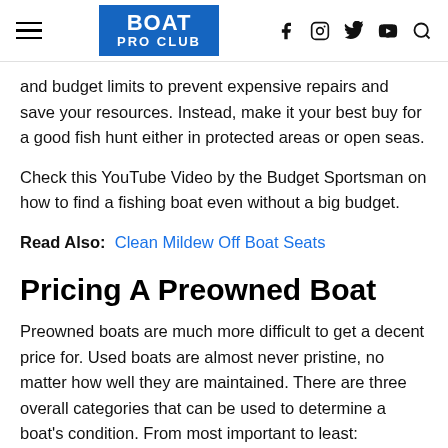BOAT PRO CLUB
and budget limits to prevent expensive repairs and save your resources. Instead, make it your best buy for a good fish hunt either in protected areas or open seas.
Check this YouTube Video by the Budget Sportsman on how to find a fishing boat even without a big budget.
Read Also:  Clean Mildew Off Boat Seats
Pricing A Preowned Boat
Preowned boats are much more difficult to get a decent price for. Used boats are almost never pristine, no matter how well they are maintained. There are three overall categories that can be used to determine a boat's condition. From most important to least: Mechanical such as engine hours and